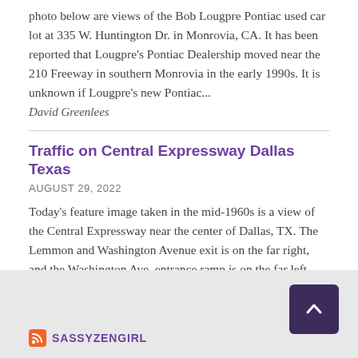photo below are views of the Bob Lougpre Pontiac used car lot at 335 W. Huntington Dr. in Monrovia, CA. It has been reported that Lougpre's Pontiac Dealership moved near the 210 Freeway in southern Monrovia in the early 1990s. It is unknown if Lougpre's new Pontiac...
David Greenlees
Traffic on Central Expressway Dallas Texas
AUGUST 29, 2022
Today's feature image taken in the mid-1960s is a view of the Central Expressway near the center of Dallas, TX. The Lemmon and Washington Avenue exit is on the far right, and the Washington Ave. entrance ramp is on the far left. Construction of the Highway began in 1948 and was completed in 1956; view...
David Greenlees
SASSYZENGIRL